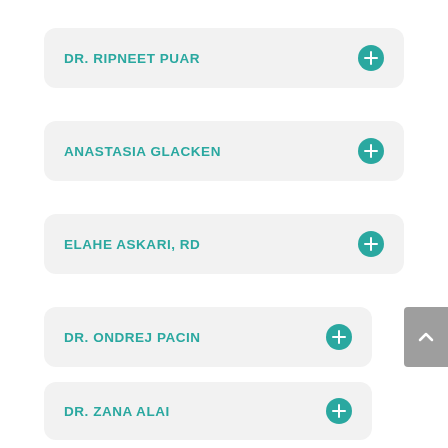DR. RIPNEET PUAR
ANASTASIA GLACKEN
ELAHE ASKARI, RD
DR. ONDREJ PACIN
DR. ZANA ALAI